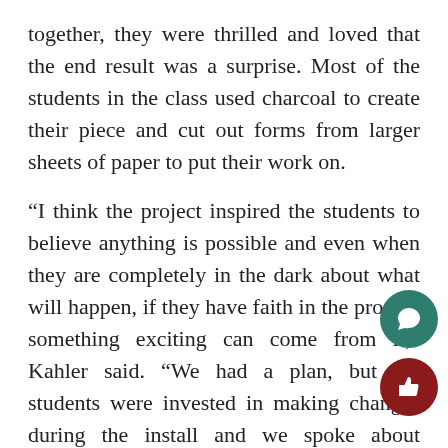together, they were thrilled and loved that the end result was a surprise. Most of the students in the class used charcoal to create their piece and cut out forms from larger sheets of paper to put their work on.
“I think the project inspired the students to believe anything is possible and even when they are completely in the dark about what will happen, if they have faith in the process something exciting can come from it,” Kahler said. “We had a plan, but the students were invested in making changes during the install and we spoke about decisions out loud as Chris was taping things up on the wall.”
In the narrative of balance, one student’s drawing of elephant balancing on a ball with a scale on his head was at the top of the installation, the rest of the artworks branching out from one another.